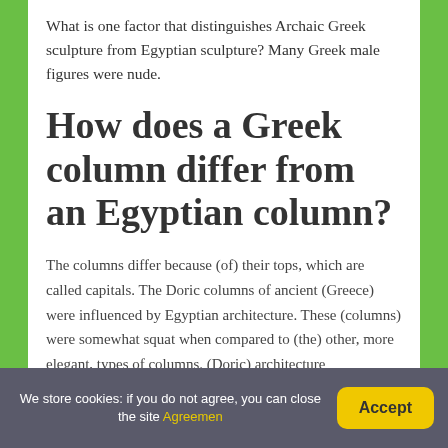What is one factor that distinguishes Archaic Greek sculpture from Egyptian sculpture? Many Greek male figures were nude.
How does a Greek column differ from an Egyptian column?
The columns differ because (of) their tops, which are called capitals. The Doric columns of ancient (Greece) were influenced by Egyptian architecture. These (columns) were somewhat squat when compared to (the) other, more elegant, types of columns. (Doric) architecture
We store cookies: if you do not agree, you can close the site Agreemen